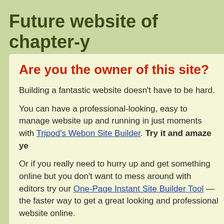Future website of chapter-y
Are you the owner of this site?
Building a fantastic website doesn't have to be hard.
You can have a professional-looking, easy to manage website up and running in just moments with Tripod's Webon Site Builder. Try it and amaze yo…
Or if you really need to hurry up and get something online but you don't want to mess around with editors try our One-Page Instant Site Builder Tool — the faster way to get a great looking and professional website online.
If you'd rather use FTP and build from scratch: FTP instructions here
Tripod has a community of helpful fellow site builders located in the…
If you have questions about how to do anything related to building a… out the Tripod Knowledgebase.